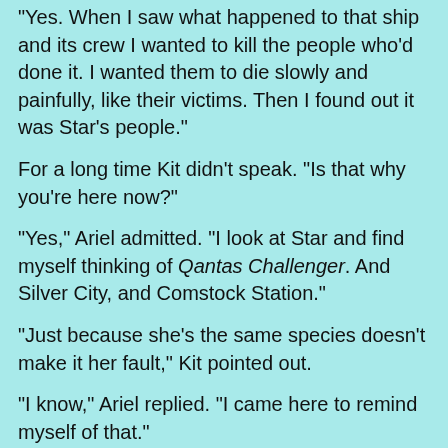"Yes. When I saw what happened to that ship and its crew I wanted to kill the people who'd done it. I wanted them to die slowly and painfully, like their victims. Then I found out it was Star's people."
For a long time Kit didn't speak. "Is that why you're here now?"
"Yes," Ariel admitted. "I look at Star and find myself thinking of Qantas Challenger. And Silver City, and Comstock Station."
"Just because she's the same species doesn't make it her fault," Kit pointed out.
"I know," Ariel replied. "I came here to remind myself of that."
Behind them the comm station chirped. Kit walked over to it. "Hmm," he commented, pressing a control. "Darkstar to Ops," he said, his voice echoing over the 1MC. "You have an urgent personal message."
"I thought this place was under lockdown," Ariel said.